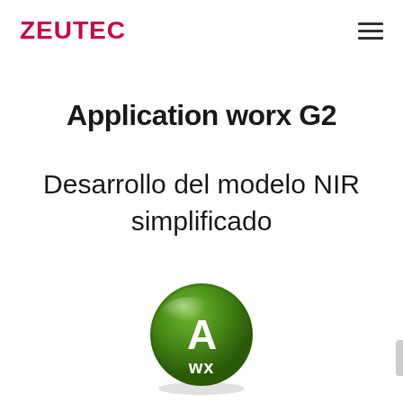ZEUTEC
Application worx G2
Desarrollo del modelo NIR simplificado
[Figure (logo): Application Worx (AwX) green glossy circular logo with white letter A and 'wx' text below]